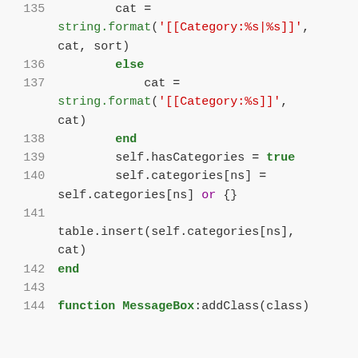Code listing lines 135-144 showing Lua/Python-style code for category formatting and MessageBox class definition.